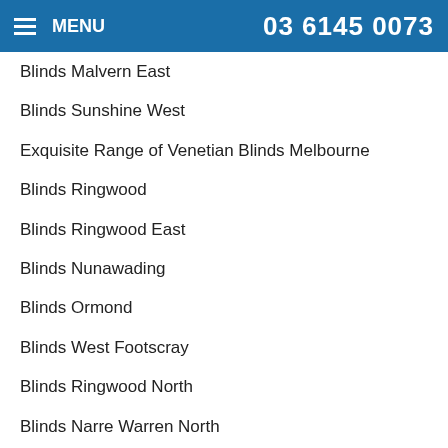MENU  03 6145 0073
Blinds Malvern East
Blinds Sunshine West
Exquisite Range of Venetian Blinds Melbourne
Blinds Ringwood
Blinds Ringwood East
Blinds Nunawading
Blinds Ormond
Blinds West Footscray
Blinds Ringwood North
Blinds Narre Warren North
Benefits of Roman Blinds
Blinds Caroline Springs